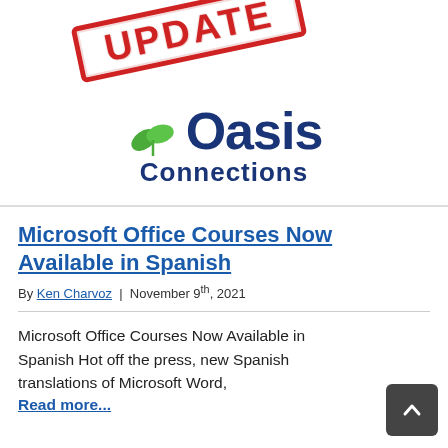[Figure (logo): UPDATE stamp in red rotated text above Oasis Connections logo with green leaf and dark blue text]
Microsoft Office Courses Now Available in Spanish
By Ken Charvoz | November 9th, 2021
Microsoft Office Courses Now Available in Spanish Hot off the press, new Spanish translations of Microsoft Word,
Read more...